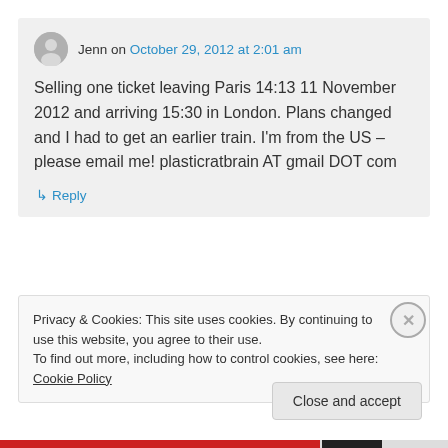Jenn on October 29, 2012 at 2:01 am
Selling one ticket leaving Paris 14:13 11 November 2012 and arriving 15:30 in London. Plans changed and I had to get an earlier train. I'm from the US – please email me! plasticratbrain AT gmail DOT com
↳ Reply
Privacy & Cookies: This site uses cookies. By continuing to use this website, you agree to their use.
To find out more, including how to control cookies, see here: Cookie Policy
Close and accept